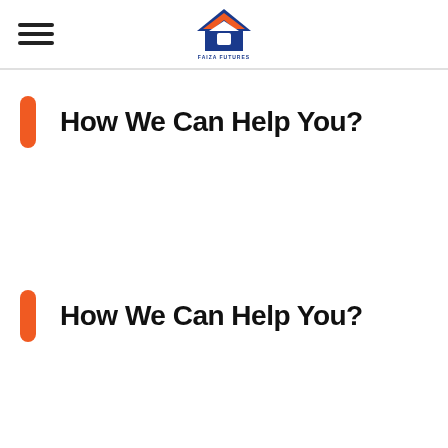FAIZA FUTURES [logo]
How We Can Help You?
How We Can Help You?